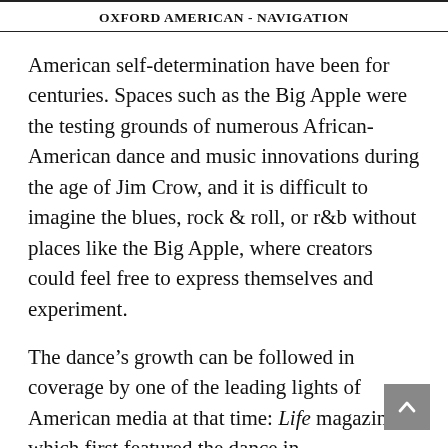OXFORD AMERICAN - NAVIGATION
American self-determination have been for centuries. Spaces such as the Big Apple were the testing grounds of numerous African-American dance and music innovations during the age of Jim Crow, and it is difficult to imagine the blues, rock & roll, or r&b without places like the Big Apple, where creators could feel free to express themselves and experiment.
The dance’s growth can be followed in coverage by one of the leading lights of American media at that time: Life magazine, which first featured the dance in